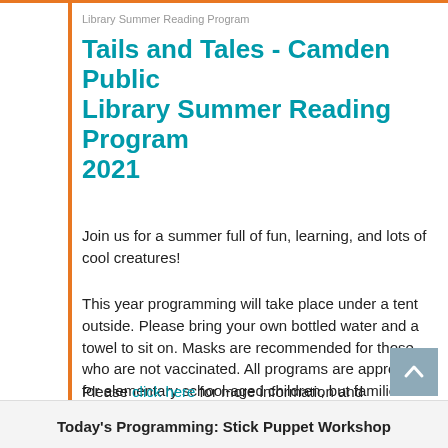Library Summer Reading Program
Tails and Tales - Camden Public Library Summer Reading Program 2021
Join us for a summer full of fun, learning, and lots of cool creatures!
This year programming will take place under a tent outside. Please bring your own bottled water and a towel to sit on. Masks are recommended for those who are not vaccinated. All programs are appropriate for elementary school-aged children, but families are encouraged to attend!
Please click here for more information and programming schedule.
Today's Programming: Stick Puppet Workshop